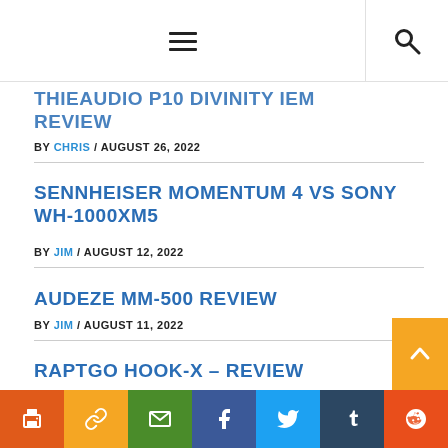[hamburger menu] [search icon]
THIEAUDIO P10 DIVINITY IEM REVIEW
BY CHRIS / AUGUST 26, 2022
SENNHEISER MOMENTUM 4 VS SONY WH-1000XM5
BY JIM / AUGUST 12, 2022
AUDEZE MM-500 REVIEW
BY JIM / AUGUST 11, 2022
RAPTGO HOOK-X – REVIEW
BY JIM / AUGUST 5, 2022
Social share bar: Print, Link, Email, Facebook, Twitter, Tumblr, Reddit